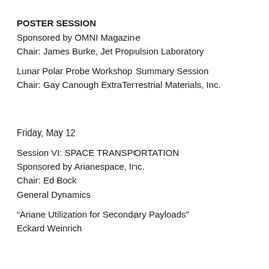POSTER SESSION
Sponsored by OMNI Magazine
Chair: James Burke, Jet Propulsion Laboratory
Lunar Polar Probe Workshop Summary Session
Chair: Gay Canough ExtraTerrestrial Materials, Inc.
Friday, May 12
Session VI: SPACE TRANSPORTATION
Sponsored by Arianespace, Inc.
Chair: Ed Bock
General Dynamics
“Ariane Utilization for Secondary Payloads”
Eckard Weinrich